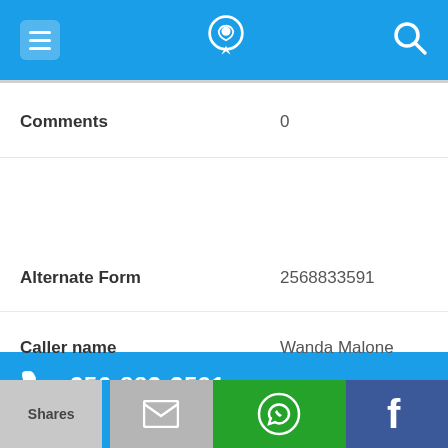[Figure (screenshot): Mobile app top navigation bar with hamburger menu icon, phone/location logo in center, and search icon on right, blue background]
Comments	0
[Figure (screenshot): Blue bar with phone icon and number 256-883-3591]
Alternate Form	2568833591
Caller name	Wanda Malone
Last User Search	No searches yet
Comments	0
[Figure (screenshot): Bottom share bar with Shares label, blue strip, email icon, WhatsApp icon (green), and Facebook icon (blue)]